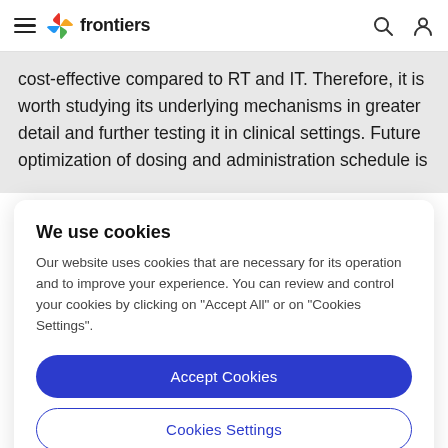frontiers
cost-effective compared to RT and IT. Therefore, it is worth studying its underlying mechanisms in greater detail and further testing it in clinical settings. Future optimization of dosing and administration schedule is
We use cookies
Our website uses cookies that are necessary for its operation and to improve your experience. You can review and control your cookies by clicking on "Accept All" or on "Cookies Settings".
Accept Cookies
Cookies Settings